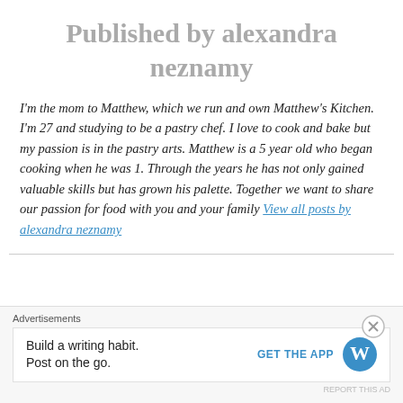Published by alexandra neznamy
I'm the mom to Matthew, which we run and own Matthew's Kitchen. I'm 27 and studying to be a pastry chef. I love to cook and bake but my passion is in the pastry arts. Matthew is a 5 year old who began cooking when he was 1. Through the years he has not only gained valuable skills but has grown his palette. Together we want to share our passion for food with you and your family View all posts by alexandra neznamy
Advertisements
Build a writing habit. Post on the go.
GET THE APP